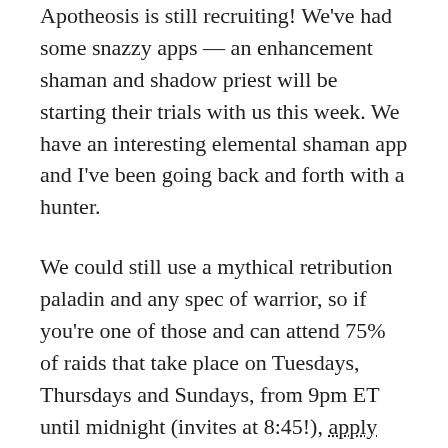Apotheosis is still recruiting! We've had some snazzy apps — an enhancement shaman and shadow priest will be starting their trials with us this week. We have an interesting elemental shaman app and I've been going back and forth with a hunter.
We could still use a mythical retribution paladin and any spec of warrior, so if you're one of those and can attend 75% of raids that take place on Tuesdays, Thursdays and Sundays, from 9pm ET until midnight (invites at 8:45!), apply now!
Blessing of Frost
Then, there's Blessing of Frost! We didn't record last week because Majik had no power, due to a